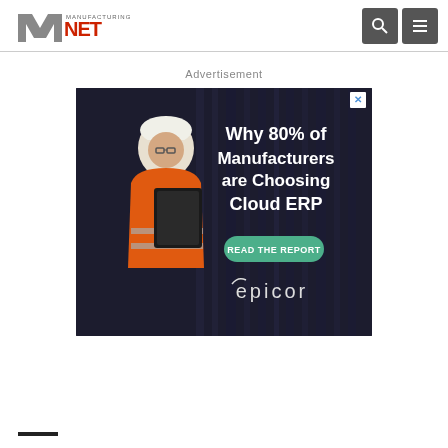Manufacturing.net
Advertisement
[Figure (screenshot): Epicor advertisement showing a female manufacturing worker in orange safety jacket and white hard hat holding a tablet, with dark industrial background. Text reads: Why 80% of Manufacturers are Choosing Cloud ERP. READ THE REPORT button in green. Epicor logo at bottom.]